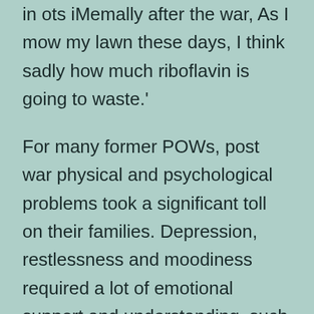in ots iMemally after the war, As I mow my lawn these days, I think sadly how much riboflavin is going to waste.'
For many former POWs, post war physical and psychological problems took a significant toll on their families. Depression, restlessness and moodiness required a lot of emotional support and understanding, such as panicking at the sound of overhead aircraft, hoarding food, and tensions with children who did not feel they had father figures for several years of their childhood – even if their fathers were